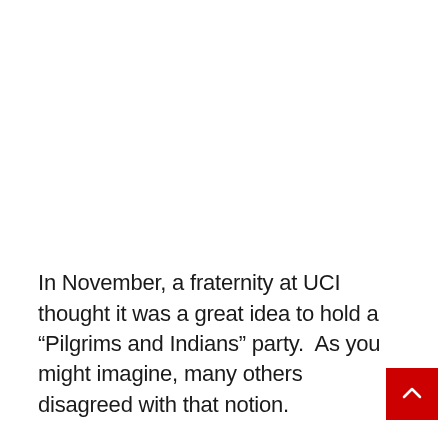In November, a fraternity at UCI thought it was a great idea to hold a “Pilgrims and Indians” party.  As you might imagine, many others disagreed with that notion.